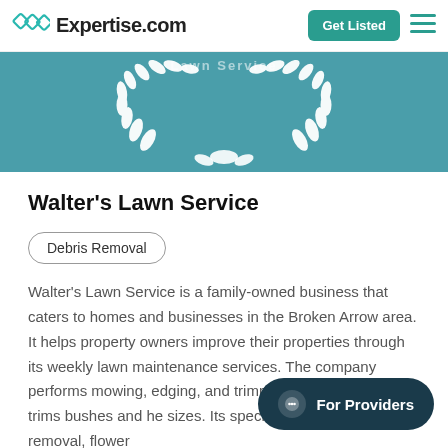Expertise.com | Get Listed
[Figure (illustration): Teal banner with white decorative laurel wreath illustration and partial text 'Lawn Service' visible at top]
Walter's Lawn Service
Debris Removal
Walter's Lawn Service is a family-owned business that caters to homes and businesses in the Broken Arrow area. It helps property owners improve their properties through its weekly lawn maintenance services. The company performs mowing, edging, and trimming. It also prunes and trims bushes and he sizes. Its specialists also provide leaf removal, flower